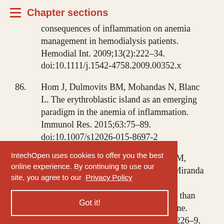Chapter sections
consequences of inflammation on anemia management in hemodialysis patients. Hemodial Int. 2009;13(2):222–34. doi:10.1111/j.1542-4758.2009.00352.x
86. Hom J, Dulmovits BM, Mohandas N, Blanc L. The erythroblastic island as an emerging paradigm in the anemia of inflammation. Immunol Res. 2015;63:75–89. doi:10.1007/s12026-015-8697-2
87. Costa E, Swinkels DW, Laarakkers CM, Rocha-Pereira P, Sucena M, Belo L, Miranda V, Quintanilha A, Santos-Silva A. Hematologic and serum iron biology parameters — changes greater than expected by the dialysis treatment alone. Kidney Blood Press Res. 2008;31(4):226–9. doi:10.1159/000129580
IntechOpen uses cookies to offer you the best online experience. By continuing to use our site, you agree to our Privacy Policy